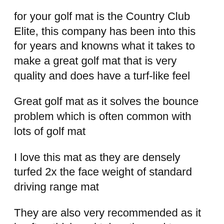for your golf mat is the Country Club Elite, this company has been into this for years and knowns what it takes to make a great golf mat that is very quality and does have a turf-like feel
Great golf mat as it solves the bounce problem which is often common with lots of golf mat
I love this mat as they are densely turfed 2x the face weight of standard driving range mat
They are also very recommended as it is often thick and takes the real tee giving you the best of experience as you use them